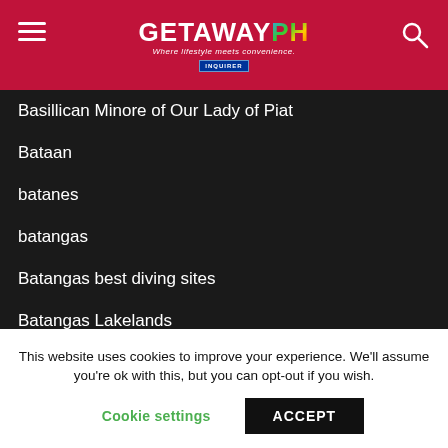[Figure (logo): GetawayPH website header with hamburger menu, logo, tagline 'Where lifestyle meets convenience.', Inquirer badge, and search icon on crimson background]
Basillican Minore of Our Lady of Piat
Bataan
batanes
batangas
Batangas best diving sites
Batangas Lakelands
Batangas province travel requirements
bath
Battle of Mactan
Bawai restaurant
This website uses cookies to improve your experience. We'll assume you're ok with this, but you can opt-out if you wish.
Cookie settings  ACCEPT